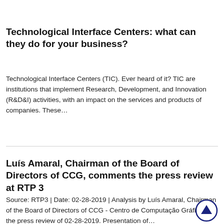Technological Interface Centers: what can they do for your business?
Technological Interface Centers (TIC). Ever heard of it? TIC are institutions that implement Research, Development, and Innovation (R&D&I) activities, with an impact on the services and products of companies. These…
Luís Amaral, Chairman of the Board of Directors of CCG, comments the press review at RTP 3
Source: RTP3 | Date: 02-28-2019 | Analysis by Luís Amaral, Chairman of the Board of Directors of CCG - Centro de Computação Gráfica, to the press review of 02-28-2019. Presentation of…